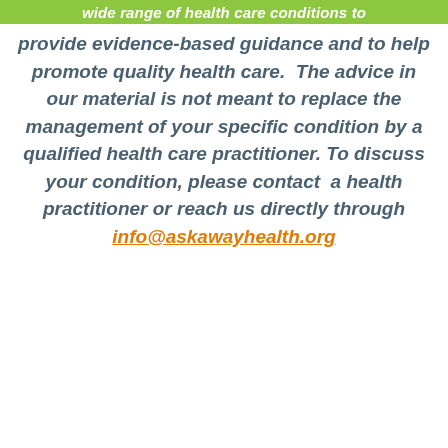wide range of health care conditions to
provide evidence-based guidance and to help promote quality health care. The advice in our material is not meant to replace the management of your specific condition by a qualified health care practitioner. To discuss your condition, please contact a health practitioner or reach us directly through info@askawayhealth.org